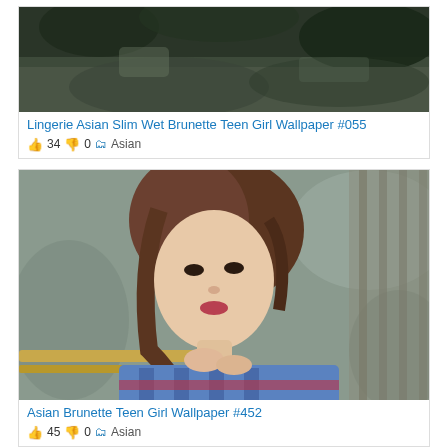[Figure (photo): Top portion of an image showing dark rocks and foliage, partial view of a lingerie wallpaper photo]
Lingerie Asian Slim Wet Brunette Teen Girl Wallpaper #055
👍 34 👎 0 🗂 Asian
[Figure (photo): Asian brunette young woman in a blue/red plaid shirt leaning on a railing, looking at camera, bokeh background]
Asian Brunette Teen Girl Wallpaper #452
👍 45 👎 0 🗂 Asian